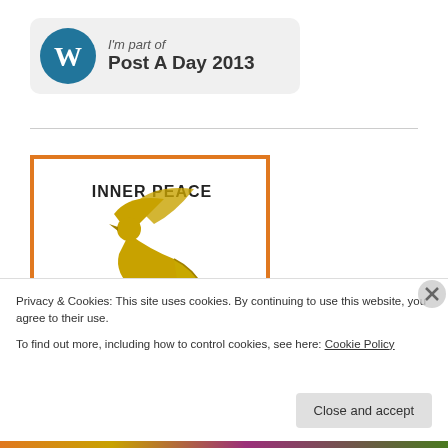[Figure (logo): WordPress 'Post A Day 2013' badge with WordPress logo and text 'I'm part of Post A Day 2013']
[Figure (illustration): Inner Peace illustration with orange border showing golden dove, olive branch, and decorative elements with text 'INNER PEACE']
Privacy & Cookies: This site uses cookies. By continuing to use this website, you agree to their use.
To find out more, including how to control cookies, see here: Cookie Policy
Close and accept